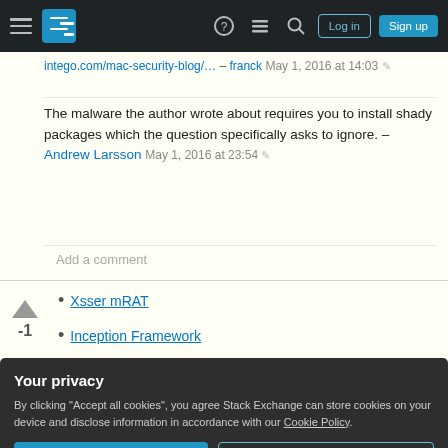Stack Exchange navigation bar with hamburger menu, logo, help, chat, search icons, Log in and Sign up buttons
intego.com/mac-security-blog/... – franck May 1, 2016 at 14:03
The malware the author wrote about requires you to install shady packages which the question specifically asks to ignore. – Andrew Larsson May 1, 2016 at 23:54
Add a comment
Xsser mRAT
Inception Framework
Your privacy
By clicking "Accept all cookies", you agree Stack Exchange can store cookies on your device and disclose information in accordance with our Cookie Policy.
Accept all cookies  Customize settings
Improve this answer  Matteo 8,253 ●19 ●76 ●114